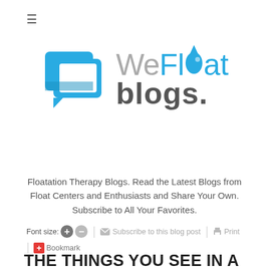[Figure (logo): WeFloat Blogs logo — blue speech bubble icon with pencil on left, 'WeFloat' text in grey/blue with water drop replacing the 'o', and 'blogs.' in dark grey below]
Floatation Therapy Blogs. Read the Latest Blogs from Float Centers and Enthusiasts and Share Your Own. Subscribe to All Your Favorites.
Font size: + − | Subscribe to this blog post | Print | +Bookmark
THE THINGS YOU SEE IN A